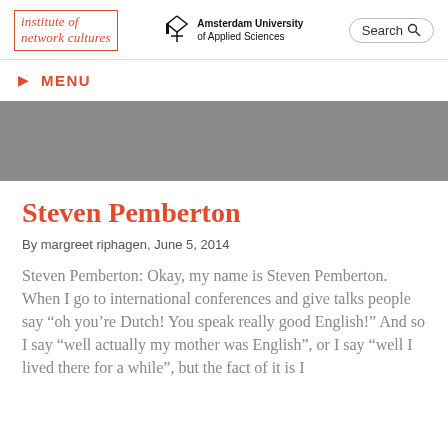institute of network cultures | Amsterdam University of Applied Sciences | Search
MENU
[Figure (photo): Gray banner image placeholder, cropped photograph area]
Steven Pemberton
By margreet riphagen, June 5, 2014
Steven Pemberton: Okay, my name is Steven Pemberton. When I go to international conferences and give talks people say “oh you’re Dutch! You speak really good English!” And so I say “well actually my mother was English”, or I say “well I lived there for a while”, but the fact of it is I